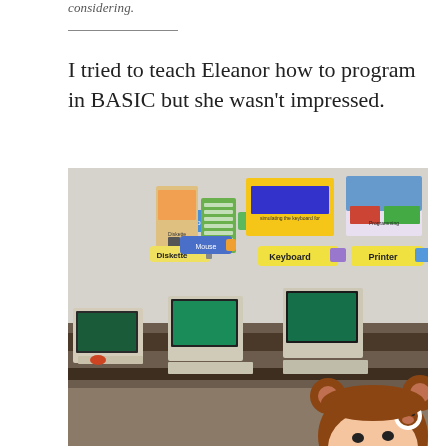considering.
I tried to teach Eleanor how to program in BASIC but she wasn't impressed.
[Figure (photo): A classroom from the early 1980s with Apple II computers on desks, educational posters on the wall labeled 'Diskette', 'Keyboard', 'Printer', and other computer term labels. A person wearing a brown bear hat is peeking up from behind a desk in the foreground.]